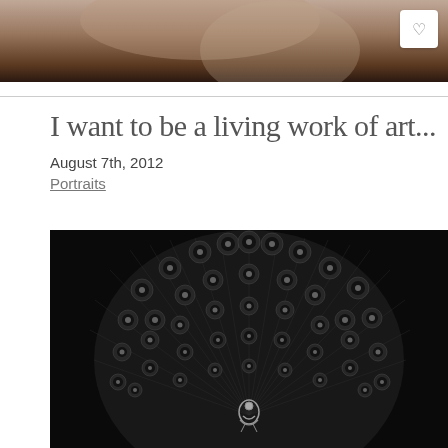[Figure (photo): Black and white photograph cropped at top, showing a person's torso/hands in sepia tones, with a white heart/like button in the top right corner]
I want to be a living work of art...
August 7th, 2012
Portraits
[Figure (photo): Black and white photograph of a peacock with its tail feathers fanned out, displaying the eye-like patterns of the feathers. A small decorative metallic figure is visible at the center bottom of the feather display.]